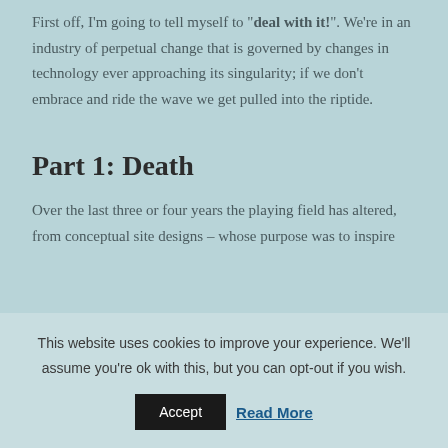First off, I'm going to tell myself to "deal with it!". We're in an industry of perpetual change that is governed by changes in technology ever approaching its singularity; if we don't embrace and ride the wave we get pulled into the riptide.
Part 1: Death
Over the last three or four years the playing field has altered, from conceptual site designs – whose purpose was to inspire ...
This website uses cookies to improve your experience. We'll assume you're ok with this, but you can opt-out if you wish.